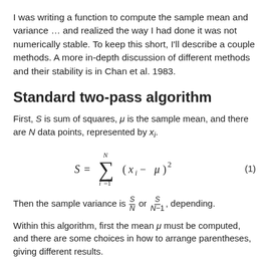I was writing a function to compute the sample mean and variance … and realized the way I had done it was not numerically stable. To keep this short, I'll describe a couple methods. A more in-depth discussion of different methods and their stability is in Chan et al. 1983.
Standard two-pass algorithm
First, S is sum of squares, μ is the sample mean, and there are N data points, represented by x_i.
Then the sample variance is S/N or S/(N−1), depending.
Within this algorithm, first the mean μ must be computed, and there are some choices in how to arrange parentheses, giving different results.